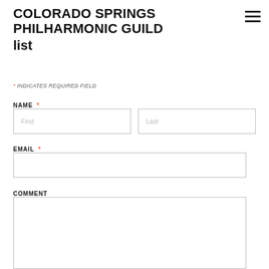COLORADO SPRINGS PHILHARMONIC GUILD list
* INDICATES REQUIRED FIELD
NAME *
First
Last
EMAIL *
COMMENT